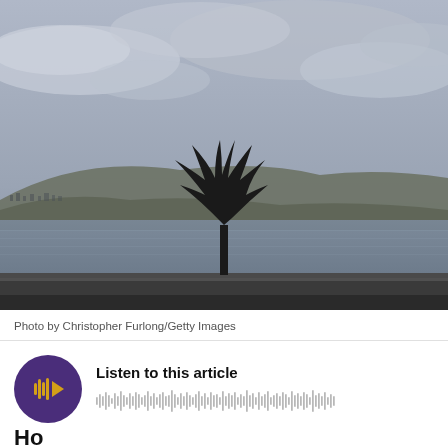[Figure (photo): A lone bare tree silhouetted against a grey overcast sky beside a calm body of water, with hills in the background and a road in the foreground. Moody, muted tones.]
Photo by Christopher Furlong/Getty Images
[Figure (other): Audio player widget with a dark purple circular play button featuring an orange play icon with audio waveform bars, alongside the text 'Listen to this article' and an audio waveform visualization.]
Ho